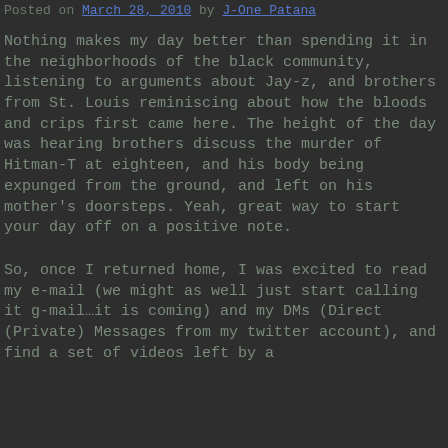Posted on March 28, 2010 by J-One Patana
Nothing makes my day better than spending it in the neighborhoods of the black community, listening to arguments about Jay-z, and brothers from St. Louis reminiscing about how the bloods and crips first came here. The height of the day was hearing brothers discuss the murder of Hitman-T at eighteen, and his body being expunged from the ground, and left on his mother's doorsteps. Yeah, great way to start your day off on a positive note.
So, once I returned home, I was excited to read my e-mail (we might as well just start calling it g-mail…it is coming) and my DMs (Direct (Private) Messages from my twitter account), and find a set of videos left by a